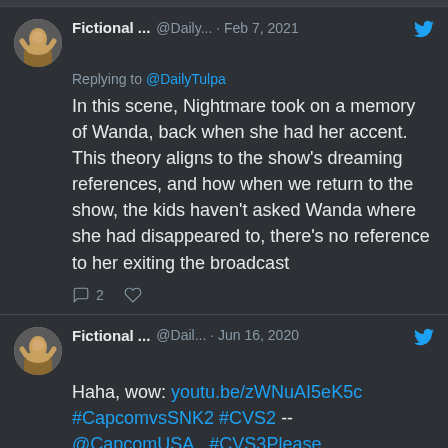Fictional ... @Daily... · Feb 7, 2021 — Replying to @DailyTulpa — In this scene, Nightmare took on a memory of Wanda, back when she had her accent. This theory aligns to the show's dreaming references, and how when we return to the show, the kids haven't asked Wanda where she had disappeared to, there's no reference to her exiting the broadcast
Fictional ... @Dail... · Jun 16, 2020 — Haha, wow: youtu.be/zWNuAI5eK5c #CapcomvsSNK2 #CVS2 -- @CapcomUSA_ #CVS3Please
[Figure (screenshot): YouTube link preview thumbnail showing a fighting game scene with a play button overlay. Domain: youtube.com. Title: [TAS] Shin Akuma VS Ultimate Rugal (Capco...]